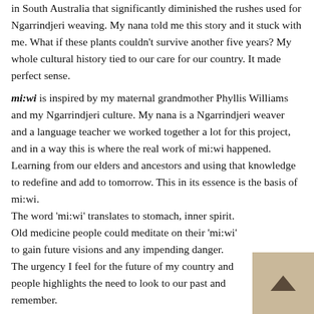in South Australia that significantly diminished the rushes used for Ngarrindjeri weaving. My nana told me this story and it stuck with me. What if these plants couldn't survive another five years? My whole cultural history tied to our care for our country. It made perfect sense.
mi:wi is inspired by my maternal grandmother Phyllis Williams and my Ngarrindjeri culture. My nana is a Ngarrindjeri weaver and a language teacher we worked together a lot for this project, and in a way this is where the real work of mi:wi happened. Learning from our elders and ancestors and using that knowledge to redefine and add to tomorrow. This in its essence is the basis of mi:wi.
The word 'mi:wi' translates to stomach, inner spirit. Old medicine people could meditate on their 'mi:wi' to gain future visions and any impending danger. The urgency I feel for the future of my country and people highlights the need to look to our past and remember.